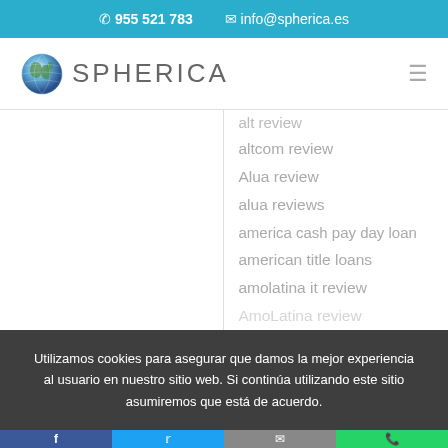📞 955 521 783   ✉ info@spherica.es
[Figure (logo): Spherica logo with globe icon and text SPHERICA]
altcom review
Alua review
alua reviews
america cash pay day loan
american title loans
amolatina it review
AmoLatina review
Utilizamos cookies para asegurar que damos la mejor experiencia al usuario en nuestro sitio web. Si continúa utilizando este sitio asumiremos que está de acuerdo.
Facebook | Twitter | Email | WhatsApp